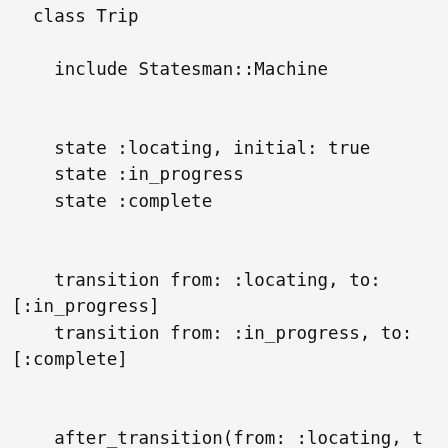class Trip
  include Statesman::Machine


    state :locating, initial: true
    state :in_progress
    state :complete


    transition from: :locating, to: [:in_progress]
    transition from: :in_progress, to: [:complete]


    after_transition(from: :locating, to: :in_progress) do |trip|
      start_trip(trip)
    end